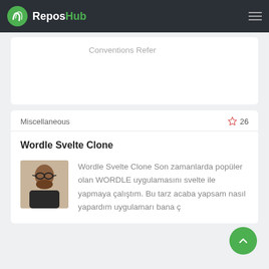ReposHub
Conventions Refer
Miscellaneous
26
Wordle Svelte Clone
Wordle Svelte Clone Son zamanlarda popüler olan WORDLE uygulamasını svelte ile yapmaya çalıştım. Bu tarz acaba yapsam nasıl yapardım uygulamarı bana ç